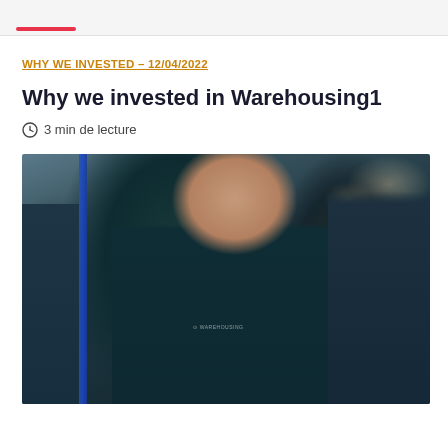WHY WE INVESTED – 12/04/2022
Why we invested in Warehousing1
3 min de lecture
[Figure (photo): Photo of two men in dark teal Warehousing1 branded sweaters smiling in a warehouse environment with blue structural columns and industrial lighting in the background]